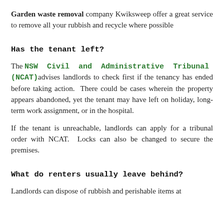Garden waste removal company Kwiksweep offer a great service to remove all your rubbish and recycle where possible
Has the tenant left?
The NSW Civil and Administrative Tribunal (NCAT) advises landlords to check first if the tenancy has ended before taking action. There could be cases wherein the property appears abandoned, yet the tenant may have left on holiday, long-term work assignment, or in the hospital.
If the tenant is unreachable, landlords can apply for a tribunal order with NCAT. Locks can also be changed to secure the premises.
What do renters usually leave behind?
Landlords can dispose of rubbish and perishable items at